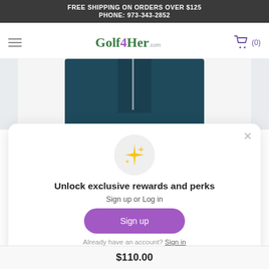FREE SHIPPING ON ORDERS OVER $125
PHONE: 973-343-2852
[Figure (logo): Golf4Her.com logo with hamburger menu and cart icon]
[Figure (photo): Partial product photo of a dark teal/navy zip-up jacket]
[Figure (illustration): Modal popup with sparkle icon, sign up or log in prompt, and sign up button]
Unlock exclusive rewards and perks
Sign up or Log in
Sign up
Already have an account? Sign in
$110.00